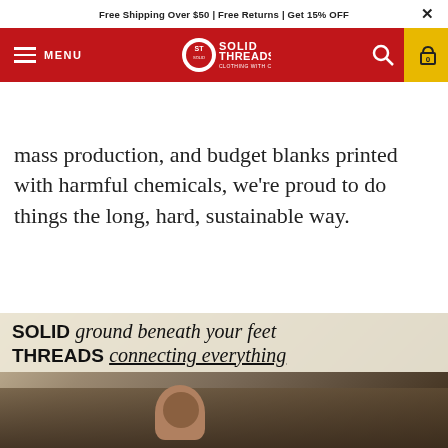Free Shipping Over $50 | Free Returns | Get 15% OFF
[Figure (logo): Solid Threads logo and navigation bar with red background, menu hamburger icon, search icon, and yellow cart icon showing 0 items]
mass production, and budget blanks printed with harmful chemicals, we're proud to do things the long, hard, sustainable way.
LEARN MORE
[Figure (photo): Promotional image showing a clothing store with text overlay: 'SOLID ground beneath your feet / THREADS connecting everything' over a photo of a person with curly hair browsing clothing racks]